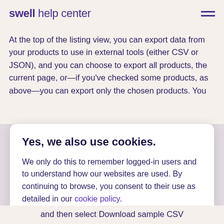swell help center
At the top of the listing view, you can export data from your products to use in external tools (either CSV or JSON), and you can choose to export all products, the current page, or—if you've checked some products, as above—you can export only the chosen products. You will also be able to...
Yes, we also use cookies.
We only do this to remember logged-in users and to understand how our websites are used. By continuing to browse, you consent to their use as detailed in our cookie policy.
and then select Download sample CSV